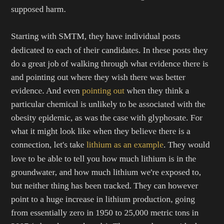closer look at the evidence connecting them to the supposed harm. Starting with SMTM, they have individual posts dedicated to each of their candidates. In these posts they do a great job of walking through what evidence there is and pointing out where they wish there was better evidence. And even pointing out when they think a particular chemical is unlikely to be associated with the obesity epidemic, as was the case with glyphosate. For what it might look like when they believe there is a connection, let's take lithium as an example. They would love to be able to tell you how much lithium is in the groundwater, and how much lithium we're exposed to, but neither thing has been tracked. They can however point to a huge increase in lithium production, going from essentially zero in 1950 to 25,000 metric tons in 2007 (when the graph ends). They can also provide data showing that people who take lithium therapeutically nearly